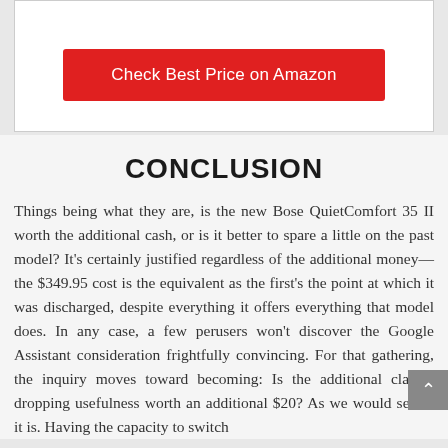[Figure (other): Partial view of a product image (headphones) at top of card]
Check Best Price on Amazon
CONCLUSION
Things being what they are, is the new Bose QuietComfort 35 II worth the additional cash, or is it better to spare a little on the past model? It's certainly justified regardless of the additional money—the $349.95 cost is the equivalent as the first's the point at which it was discharged, despite everything it offers everything that model does. In any case, a few perusers won't discover the Google Assistant consideration frightfully convincing. For that gathering, the inquiry moves toward becoming: Is the additional clamor dropping usefulness worth an additional $20? As we would see it, it is. Having the capacity to switch